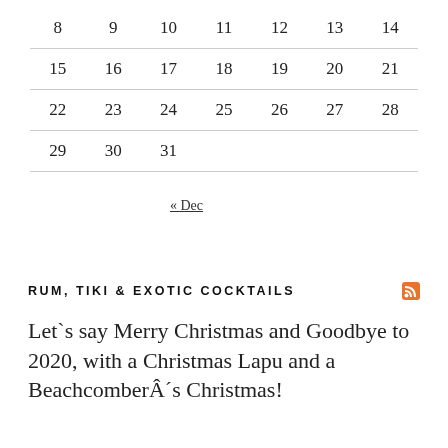| 8 | 9 | 10 | 11 | 12 | 13 | 14 |
| 15 | 16 | 17 | 18 | 19 | 20 | 21 |
| 22 | 23 | 24 | 25 | 26 | 27 | 28 |
| 29 | 30 | 31 |  |  |  |  |
« Dec
RUM, TIKI & EXOTIC COCKTAILS
Let`s say Merry Christmas and Goodbye to 2020, with a Christmas Lapu and a Beachcomber´s Christmas!